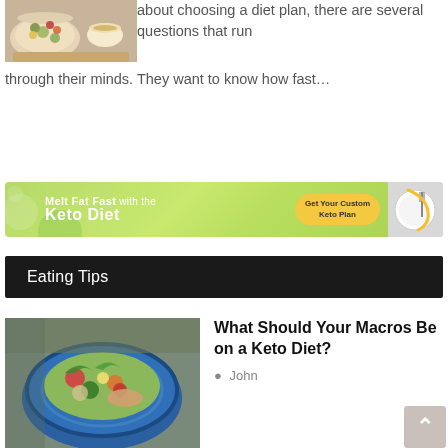[Figure (photo): Food photo showing a salad bowl with grains and vegetables and a small bowl of dressing]
about choosing a diet plan, there are several questions that run through their minds. They want to know how fast…
[Figure (infographic): Advertisement banner: Melt Fat Fast with the Keto Diet — Get Your Custom Keto Plan button, with a plate and measuring tape illustration]
Eating Tips
[Figure (photo): Close-up photo of a colorful salad in a blue bowl with fish, vegetables, and greens]
What Should Your Macros Be on a Keto Diet?
John